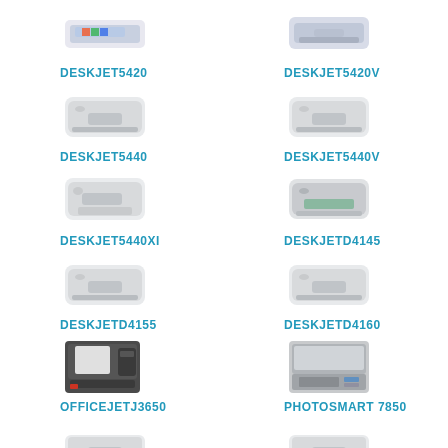[Figure (photo): HP printer image - DESKJET5420 (partial, top cut off)]
[Figure (photo): HP printer image - DESKJET5420V (partial, top cut off)]
DESKJET5420
DESKJET5420V
[Figure (photo): HP white inkjet printer - DESKJET5440]
[Figure (photo): HP white inkjet printer - DESKJET5440V]
DESKJET5440
DESKJET5440V
[Figure (photo): HP white inkjet printer with open tray - DESKJET5440XI]
[Figure (photo): HP printer with green panel - DESKJETD4145]
DESKJET5440XI
DESKJETD4145
[Figure (photo): HP white inkjet printer - DESKJETD4155]
[Figure (photo): HP white inkjet printer - DESKJETD4160]
DESKJETD4155
DESKJETD4160
[Figure (photo): HP OfficeJet multifunction printer - OFFICEJETJ3650]
[Figure (photo): HP Photosmart all-in-one - PHOTOSMART 7850]
OFFICEJETJ3650
PHOTOSMART 7850